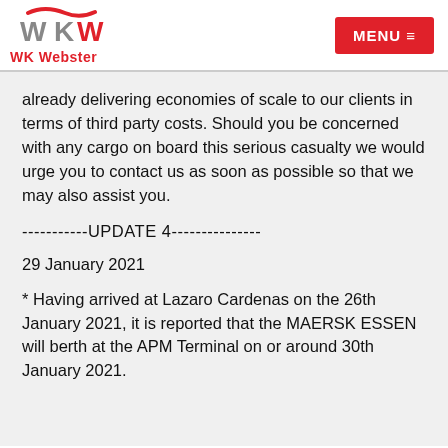WK Webster | MENU
already delivering economies of scale to our clients in terms of third party costs. Should you be concerned with any cargo on board this serious casualty we would urge you to contact us as soon as possible so that we may also assist you.
-----------UPDATE 4---------------
29 January 2021
* Having arrived at Lazaro Cardenas on the 26th January 2021, it is reported that the MAERSK ESSEN will berth at the APM Terminal on or around 30th January 2021.